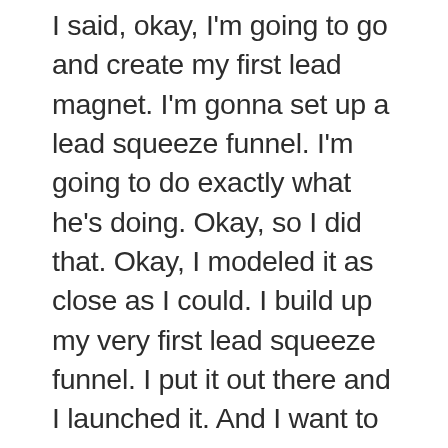I said, okay, I'm going to go and create my first lead magnet. I'm gonna set up a lead squeeze funnel. I'm going to do exactly what he's doing. Okay, so I did that. Okay, I modeled it as close as I could. I build up my very first lead squeeze funnel. I put it out there and I launched it. And I want to come back to these numbers 'cause these numbers were actually interesting. Initially for me, my numbers almost synced to what I was told earlier from one of my friends. Okay, I still remember the very first month that I started, that I had my